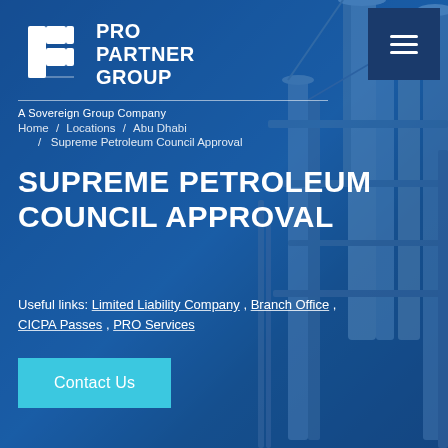[Figure (screenshot): Website screenshot of Pro Partner Group with industrial refinery background image, blue-tinted overlay, logo at top-left, navigation menu button top-right]
PRO PARTNER GROUP — A Sovereign Group Company
Home / Locations / Abu Dhabi / Supreme Petroleum Council Approval
SUPREME PETROLEUM COUNCIL APPROVAL
Useful links: Limited Liability Company , Branch Office , CICPA Passes , PRO Services
Contact Us